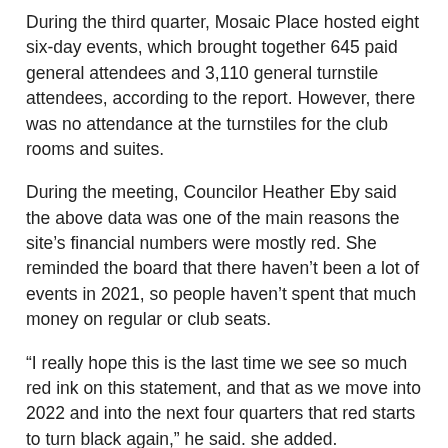During the third quarter, Mosaic Place hosted eight six-day events, which brought together 645 paid general attendees and 3,110 general turnstile attendees, according to the report. However, there was no attendance at the turnstiles for the club rooms and suites.
During the meeting, Councilor Heather Eby said the above data was one of the main reasons the site's financial numbers were mostly red. She reminded the board that there haven't been a lot of events in 2021, so people haven't spent that much money on regular or club seats.
“I really hope this is the last time we see so much red ink on this statement, and that as we move into 2022 and into the next four quarters that red starts to turn black again,” he said. she added.
Looking at Mosaic Place’s record, the Council. Kim Robinson noted that the site had a negative balance of $ 52,498 in its third-party accounts receivable. He was curious if this was related to Ticket